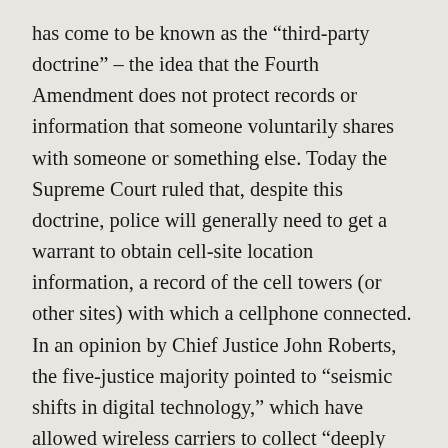has come to be known as the “third-party doctrine” – the idea that the Fourth Amendment does not protect records or information that someone voluntarily shares with someone or something else. Today the Supreme Court ruled that, despite this doctrine, police will generally need to get a warrant to obtain cell-site location information, a record of the cell towers (or other sites) with which a cellphone connected. In an opinion by Chief Justice John Roberts, the five-justice majority pointed to “seismic shifts in digital technology,” which have allowed wireless carriers to collect “deeply revealing” information about cellphone owners that should be protected by the Constitution. Roberts characterized the ruling as a narrow one, but it still drew sharp criticism from the dissenting justices, who complained that it is likely to imperil, in the words of Justice Samuel Alito, “many legitimate